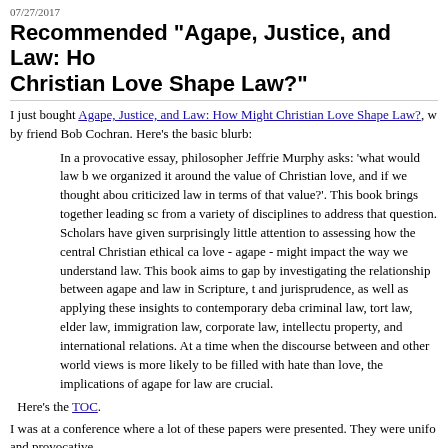07/27/2017
Recommended "Agape, Justice, and Law: How Might Christian Love Shape Law?"
I just bought Agape, Justice, and Law: How Might Christian Love Shape Law?, w by friend Bob Cochran. Here's the basic blurb:
In a provocative essay, philosopher Jeffrie Murphy asks: 'what would law b we organized it around the value of Christian love, and if we thought abou criticized law in terms of that value?'. This book brings together leading sc from a variety of disciplines to address that question. Scholars have given surprisingly little attention to assessing how the central Christian ethical ca love - agape - might impact the way we understand law. This book aims to gap by investigating the relationship between agape and law in Scripture, t and jurisprudence, as well as applying these insights to contemporary deba criminal law, tort law, elder law, immigration law, corporate law, intellectu property, and international relations. At a time when the discourse between and other world views is more likely to be filled with hate than love, the implications of agape for law are crucial.
Here's the TOC.
I was at a conference where a lot of these papers were presented. They were unifo and provocative.
[Figure (logo): Amazon logo with orange arrow and book cover image below]